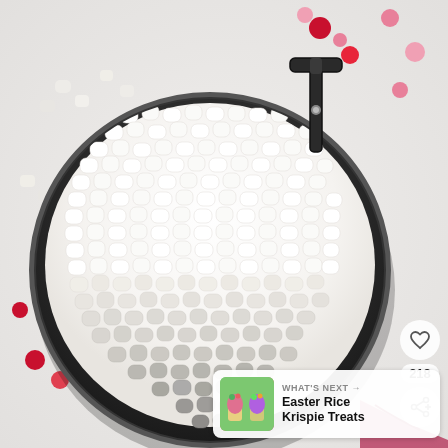[Figure (photo): Overhead view of a black pot/pan filled with mini white marshmallows, surrounded by scattered red, pink, and white candy pieces on a white surface. A dark handle is visible at the top of the pan.]
[Figure (other): UI overlay on image: heart icon button, '218' count label, and share icon button]
218
WHAT'S NEXT → Easter Rice Krispie Treats